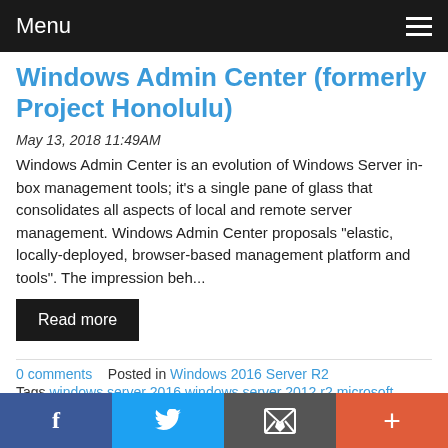Menu
Windows Admin Center (formerly Project Honolulu)
May 13, 2018 11:49AM
Windows Admin Center is an evolution of Windows Server in-box management tools; it's a single pane of glass that consolidates all aspects of local and remote server management. Windows Admin Center proposals "elastic, locally-deployed, browser-based management platform and tools". The impression beh...
Read more
0 comments   Posted in Windows 2016 Server R2
Tags windows server 2016 windows server 2012 r2 microsoft windows server microsoft powershell
f  Twitter  Email  +